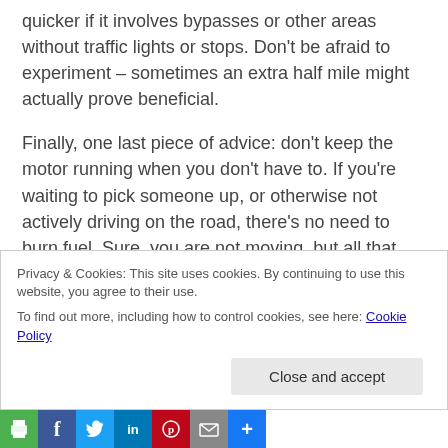quicker if it involves bypasses or other areas without traffic lights or stops. Don't be afraid to experiment – sometimes an extra half mile might actually prove beneficial.
Finally, one last piece of advice: don't keep the motor running when you don't have to. If you're waiting to pick someone up, or otherwise not actively driving on the road, there's no need to burn fuel. Sure, you are not moving, but all that wasted fuel adds up each month. Thanks to modern fuel injection technology, it's cheaper to simply disconnect the engine.
Privacy & Cookies: This site uses cookies. By continuing to use this website, you agree to their use.
To find out more, including how to control cookies, see here: Cookie Policy
Close and accept